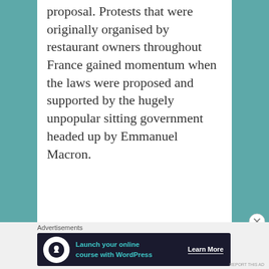proposal. Protests that were originally organised by restaurant owners throughout France gained momentum when the laws were proposed and supported by the hugely unpopular sitting government headed up by Emmanuel Macron.
Advertisements
[Figure (other): Advertisement banner with dark navy background. Shows a circular white icon with a person/tree silhouette, teal text reading 'Launch your online course with WordPress', and a white 'Learn More' button with underline.]